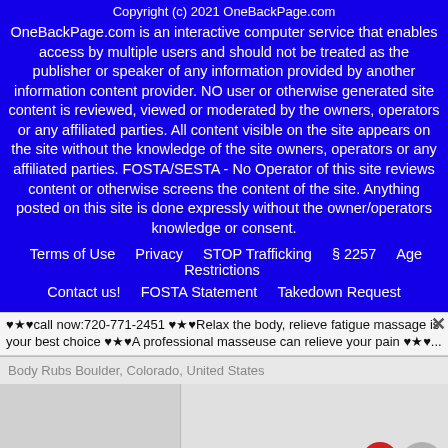Copyright (c) 2021 OneBackPage.com
OneBackPage.com is an interactive computer service that enables access by multiple users and should not be treated as the publisher or speaker of any information provided by another information content provider. NO user or otherwise generated site content is reviewed, viewed or moderated by the owners, operators or any affiliated parties. All content visible on the site appears on the site without the knowledge of the site owners, operators or any affiliated parties. FOSTA/SESTA - No Operator of this site reviews content or otherwise screens the content of the site. Anything posted on this site is done expressly without the owner/operators knowledge or consent.
Terms of Use   Privacy   STOP Trafficking   § 2257   Age Restrictions   Contact us!   FOSTA Statement   Takedown Request
♥★♥call now:720-771-2451 ♥★♥Relax the body, relieve fatigue massage is your best choice ♥★♥A professional masseuse can relieve your pain ♥★♥...
Body Rubs Boulder, Colorado, United States